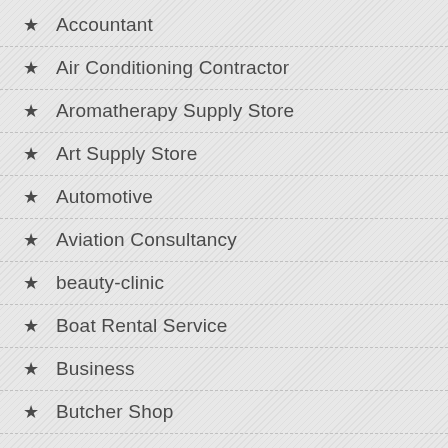Accountant
Air Conditioning Contractor
Aromatherapy Supply Store
Art Supply Store
Automotive
Aviation Consultancy
beauty-clinic
Boat Rental Service
Business
Butcher Shop
Cable Company